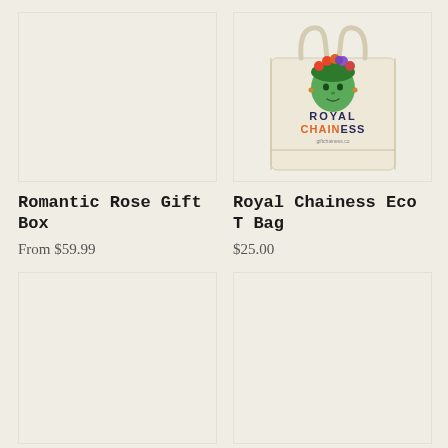[Figure (photo): Empty beige/cream background product image placeholder for Romantic Rose Gift Box]
[Figure (photo): Royal Chainess Eco Tote Bag product photo - cream canvas tote bag with illustrated green face with floral crown and Royal Chainess branding]
Romantic Rose Gift Box
Royal Chainess Eco T Bag
From $59.99
$25.00
[Figure (photo): Empty beige/cream background product image placeholder - bottom left]
[Figure (photo): Empty beige/cream background product image placeholder - bottom right]